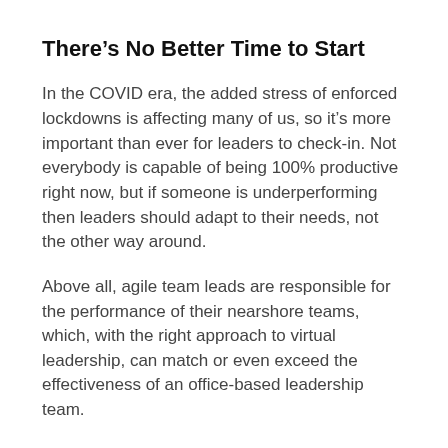There’s No Better Time to Start
In the COVID era, the added stress of enforced lockdowns is affecting many of us, so it’s more important than ever for leaders to check-in. Not everybody is capable of being 100% productive right now, but if someone is underperforming then leaders should adapt to their needs, not the other way around.
Above all, agile team leads are responsible for the performance of their nearshore teams, which, with the right approach to virtual leadership, can match or even exceed the effectiveness of an office-based leadership team.